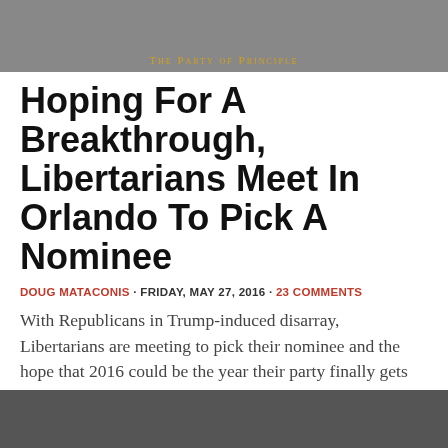[Figure (photo): Libertarian Party banner/logo with text 'The Party of Principle' on a gray background]
Hoping For A Breakthrough, Libertarians Meet In Orlando To Pick A Nominee
DOUG MATACONIS · FRIDAY, MAY 27, 2016 · 23 COMMENTS
With Republicans in Trump-induced disarray, Libertarians are meeting to pick their nominee and the hope that 2016 could be the year their party finally gets the attention it has craved for four decades.
[Figure (photo): Bottom portion of a photograph, partially visible]